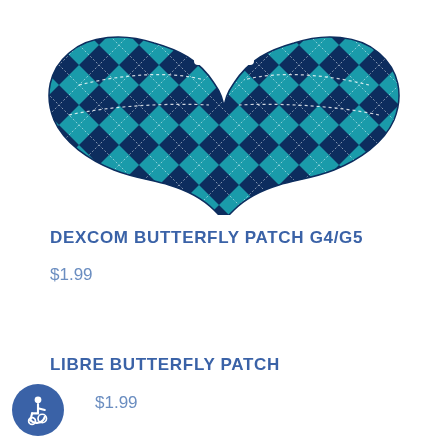[Figure (photo): Butterfly-shaped Dexcom CGM patch with teal and navy blue argyle diamond pattern and white dashed stitch lines]
DEXCOM BUTTERFLY PATCH G4/G5
$1.99
LIBRE BUTTERFLY PATCH
$1.99